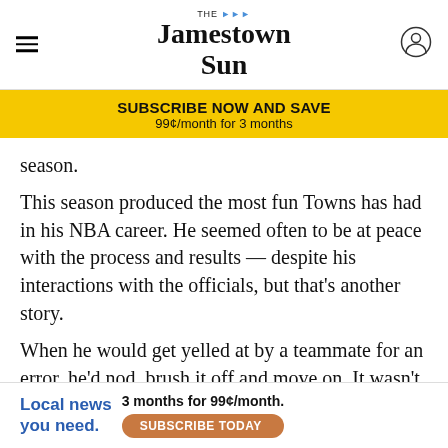The Jamestown Sun
[Figure (infographic): Subscribe Now and Save banner: SUBSCRIBE NOW AND SAVE / 99¢/month for 3 months]
season.
This season produced the most fun Towns has had in his NBA career. He seemed often to be at peace with the process and results — despite his interactions with the officials, but that's another story.
When he would get yelled at by a teammate for an error, he'd nod, brush it off and move on. It wasn't uncommon for him to let someone else know when they'd... year's team... from
[Figure (infographic): Local news you need. 3 months for 99¢/month. SUBSCRIBE TODAY button]